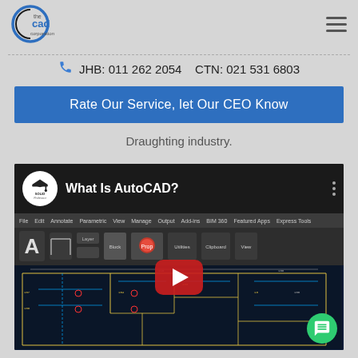[Figure (logo): The CAD Corporation logo - circular logo with 'the cad corporation' text]
JHB: 011 262 2054    CTN: 021 531 6803
Rate Our Service, let Our CEO Know
Draughting industry.
[Figure (screenshot): YouTube video thumbnail showing 'What Is AutoCAD?' with Solid Professor channel logo, AutoCAD interface ribbon and floor plan drawing visible, with YouTube play button overlay]